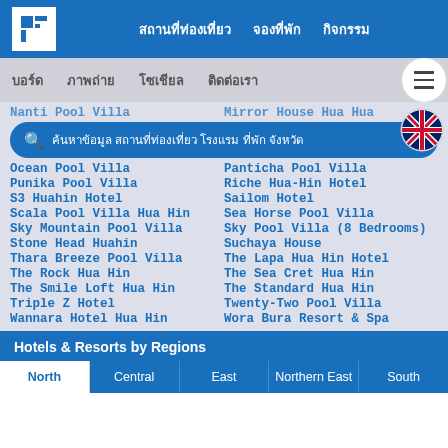สถานที่ท่องเที่ยว  จองที่พัก  กิจกรรม
บอร์ด  ภาพถ่าย  โซเชียล  ติดต่อเรา
Nanti Pool Villa | Mirror House Hua Hua
Ocean Pool Villa | Panticha Pool Villa
Punika Pool Villa | Riche Hua-Hin Hotel
S3 Huahin Hotel | Sailom Hotel
Scala Pool Villa Hua Hin | Sea Horse Pool Villa
Sky Mountain Pool Villa | Sky Pool Villa (8 Bedrooms)
Stone Head Huahin | Suchaya House
Thara Breeze Pool Villa | The Lapa Hua Hin Hotel
The Rock Hua Hin | The Sea Cret Hua Hin
The Smile Loft Hua Hin | The Standard Hua Hin
Triple Z Hotel | Twenty-Two Pool Villa
Wannara Hotel Hua Hin | Wora Bura Resort & Spa
Hotels & Resorts by Regions
North | Central | East | Northern East | South